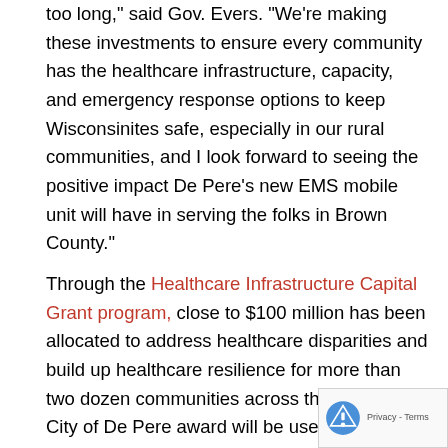too long," said Gov. Evers. "We're making these investments to ensure every community has the healthcare infrastructure, capacity, and emergency response options to keep Wisconsinites safe, especially in our rural communities, and I look forward to seeing the positive impact De Pere's new EMS mobile unit will have in serving the folks in Brown County."
Through the Healthcare Infrastructure Capital Grant program, close to $100 million has been allocated to address healthcare disparities and build up healthcare resilience for more than two dozen communities across the state. The City of De Pere award will be used for the creation of an EMS mobile unit to serve hard-to-reach residents, expand access to preventive services, and extend service hours. De Pere is home to a large population of older adults who rely up preventative services provided through the Stay at Ho Assistance Program, as well as the Syble Hopp School, a